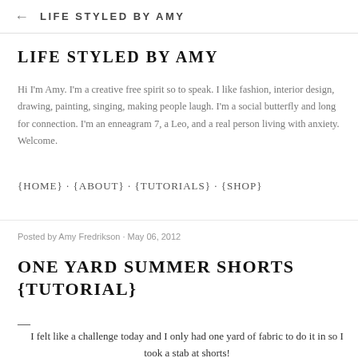← LIFE STYLED BY AMY
LIFE STYLED BY AMY
Hi I'm Amy. I'm a creative free spirit so to speak. I like fashion, interior design, drawing, painting, singing, making people laugh. I'm a social butterfly and long for connection. I'm an enneagram 7, a Leo, and a real person living with anxiety. Welcome.
{HOME} · {ABOUT} · {TUTORIALS} · {SHOP}
Posted by Amy Fredrikson · May 06, 2012
ONE YARD SUMMER SHORTS {TUTORIAL}
—
I felt like a challenge today and I only had one yard of fabric to do it in so I took a stab at shorts!
To my joy & surprise they turned out!